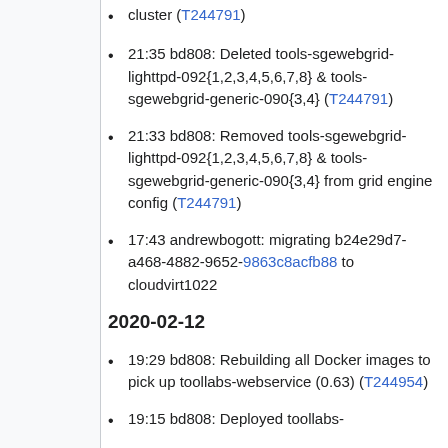cluster (T244791)
21:35 bd808: Deleted tools-sgewebgrid-lighttpd-092{1,2,3,4,5,6,7,8} & tools-sgewebgrid-generic-090{3,4} (T244791)
21:33 bd808: Removed tools-sgewebgrid-lighttpd-092{1,2,3,4,5,6,7,8} & tools-sgewebgrid-generic-090{3,4} from grid engine config (T244791)
17:43 andrewbogott: migrating b24e29d7-a468-4882-9652-9863c8acfb88 to cloudvirt1022
2020-02-12
19:29 bd808: Rebuilding all Docker images to pick up toollabs-webservice (0.63) (T244954)
19:15 bd808: Deployed toollabs-